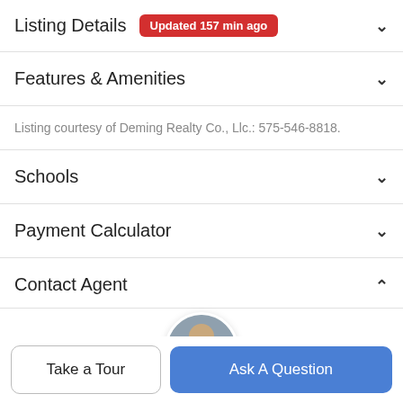Listing Details Updated 157 min ago
Features & Amenities
Listing courtesy of Deming Realty Co., Llc.: 575-546-8818.
Schools
Payment Calculator
Contact Agent
[Figure (photo): Circular profile photo of a real estate agent in a dark blazer]
Take a Tour
Ask A Question